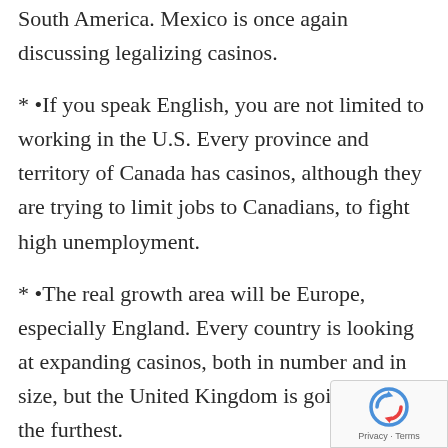South America. Mexico is once again discussing legalizing casinos.
* •If you speak English, you are not limited to working in the U.S. Every province and territory of Canada has casinos, although they are trying to limit jobs to Canadians, to fight high unemployment.
* •The real growth area will be Europe, especially England. Every country is looking at expanding casinos, both in number and in size, but the United Kingdom is going to go the furthest.
[Figure (logo): Google reCAPTCHA badge with spinning arrows icon and Privacy - Terms text]